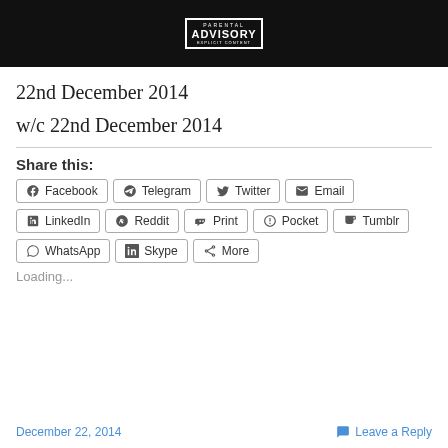[Figure (photo): Black album cover with Parental Advisory Explicit Content label in center]
22nd December 2014
w/c 22nd December 2014
Share this:
Facebook
Telegram
Twitter
Email
LinkedIn
Reddit
Print
Pocket
Tumblr
WhatsApp
Skype
More
Loading...
December 22, 2014    Leave a Reply